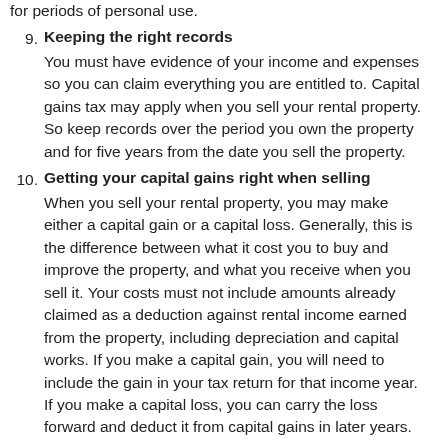for periods of personal use.
9. Keeping the right records
You must have evidence of your income and expenses so you can claim everything you are entitled to. Capital gains tax may apply when you sell your rental property. So keep records over the period you own the property and for five years from the date you sell the property.
10. Getting your capital gains right when selling
When you sell your rental property, you may make either a capital gain or a capital loss. Generally, this is the difference between what it cost you to buy and improve the property, and what you receive when you sell it. Your costs must not include amounts already claimed as a deduction against rental income earned from the property, including depreciation and capital works. If you make a capital gain, you will need to include the gain in your tax return for that income year. If you make a capital loss, you can carry the loss forward and deduct it from capital gains in later years.
DISCLAIMER: All information provided in this publication is of a general nature only and is not personal financial or investment